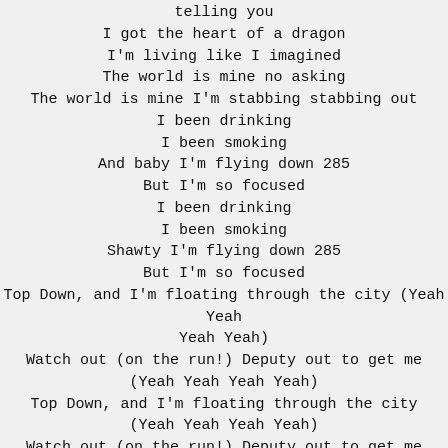telling you
I got the heart of a dragon
I'm living like I imagined
The world is mine no asking
The world is mine I'm stabbing stabbing out
I been drinking
I been smoking
And baby I'm flying down 285
But I'm so focused
I been drinking
I been smoking
Shawty I'm flying down 285
But I'm so focused
Top Down, and I'm floating through the city (Yeah Yeah Yeah Yeah)
Watch out (on the run!) Deputy out to get me (Yeah Yeah Yeah Yeah)
Top Down, and I'm floating through the city (Yeah Yeah Yeah Yeah)
Watch out (on the run!) Deputy out to get me